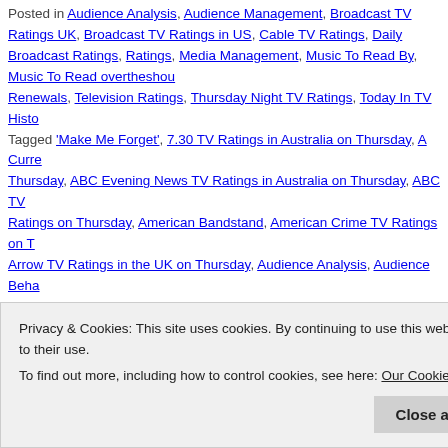Posted in Audience Analysis, Audience Management, Broadcast TV Ratings UK, Broadcast TV Ratings in US, Cable TV Ratings, Daily Broadcast Ratings, Ratings, Media Management, Music To Read By, Music To Read overtheshoul Renewals, Television Ratings, Thursday Night TV Ratings, Today In TV Histo Tagged 'Make Me Forget', 7.30 TV Ratings in Australia on Thursday, A Curre Thursday, ABC Evening News TV Ratings in Australia on Thursday, ABC TV Ratings on Thursday, American Bandstand, American Crime TV Ratings on T Arrow TV Ratings in the UK on Thursday, Audience Analysis, Audience Beha Ratings on Thursday, Banished TV Ratings in the UK on Thursday, BBC One Ratings on Thursday, BBC Two TV Ratings on Thursday in the UK, Bobby Ry the UK on Thursday, Brooklyn Nine-Nine TV Ratings in the UK on Thursday, Juice TV Ratings in the UK on Thursday, Channel 4 TV Ratings in the UK on on Thursday, Cincinnati Bearcats TV Ratings on Thursday, Cinema, CNA|SO Thursday, Digital, Direct, Double Decker Driving School TV Ratings in the UK Thursday, Fortitude TV Ratings in the UK on Thursday, FOX #1 on Thursday, Anatomy TV Ratings on Thursday, Hampton TV Ratings on Thursday, Holiday on Thursday, Home and Away TV Ratings in Australia on Thursday, ITV 2 TV Ratings in the UK on Thursday, ITV2 TV Ratings in the UK on Thursday, Ken Seven News/Today Tonight TV Ratings in Australia on Thursday, Sky Atlantic
Privacy & Cookies: This site uses cookies. By continuing to use this website, you agree to their use. To find out more, including how to control cookies, see here: Our Cookie Policy